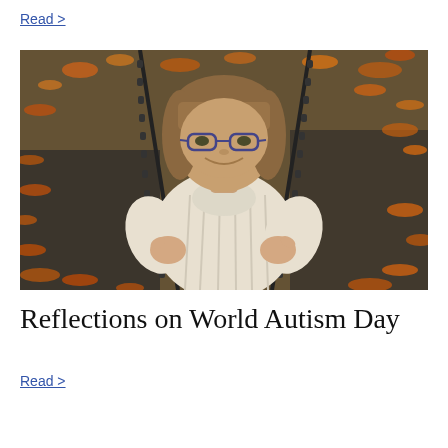Read >
[Figure (photo): A young girl with glasses and brown hair sitting on a playground swing, wearing a cream-colored cable-knit sweater, holding the swing chains, smiling toward the camera. Background shows fallen autumn leaves on the ground.]
Reflections on World Autism Day
Read >